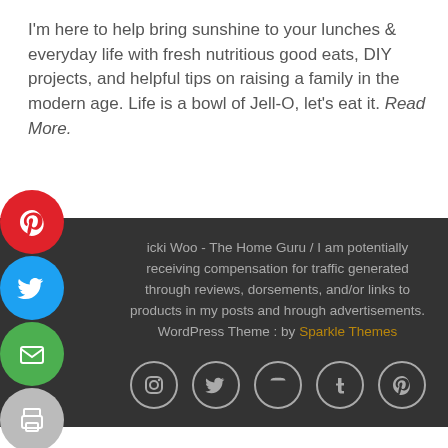I'm here to help bring sunshine to your lunches & everyday life with fresh nutritious good eats, DIY projects, and helpful tips on raising a family in the modern age. Life is a bowl of Jell-O, let's eat it. Read More.
[Figure (infographic): Vertical stack of social media share buttons: Pinterest (red), Twitter (blue), Email (green), Print (gray), Facebook (dark blue) — circular icon buttons on the left side]
icki Woo - The Home Guru / I am potentially receiving compensation for traffic generated through reviews, dorsements, and/or links to products in my posts and hrough advertisements. WordPress Theme : by Sparkle Themes
[Figure (infographic): Row of social media icon circles at the bottom of the footer: Instagram, Twitter, YouTube, Tumblr, Pinterest]